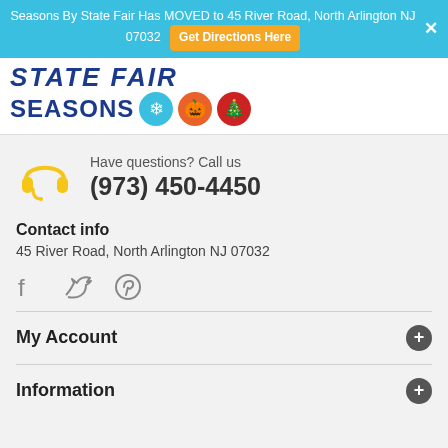Seasons By State Fair Has MOVED to 45 River Road, North Arlington NJ 07032  Get Directions Here
[Figure (logo): State Fair Seasons logo with colorful seasonal icons (snowflake/sun, pumpkin, Christmas tree circles)]
Have questions? Call us
(973) 450-4450
Contact info
45 River Road, North Arlington NJ 07032
[Figure (illustration): Social media icons: Facebook, Twitter, Pinterest]
My Account
Information